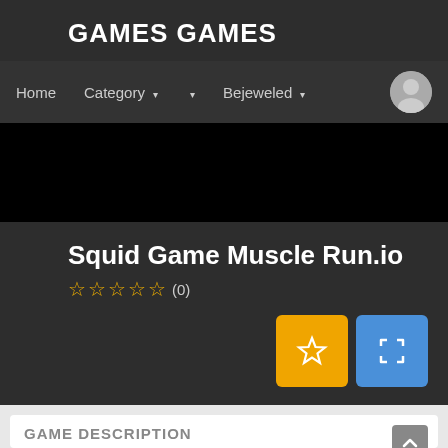GAMES GAMES
Home  Category ▾  ▾  Bejeweled ▾
[Figure (other): Black banner area (advertisement or media placeholder)]
Squid Game Muscle Run.io
★ ★ ★ ★ ★ (0)
[Figure (other): Orange favorite/bookmark button and blue fullscreen/expand button]
GAME DESCRIPTION